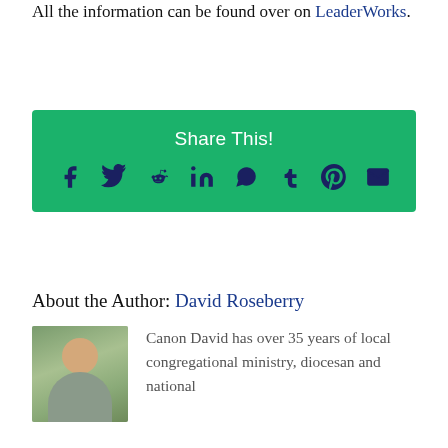All the information can be found over on LeaderWorks.
[Figure (infographic): Green 'Share This!' box with social media icons: Facebook, Twitter, Reddit, LinkedIn, WhatsApp, Tumblr, Pinterest, Mail]
About the Author: David Roseberry
[Figure (photo): Headshot of Canon David Roseberry, older man with glasses, smiling, outdoors with greenery in background]
Canon David has over 35 years of local congregational ministry, diocesan and national